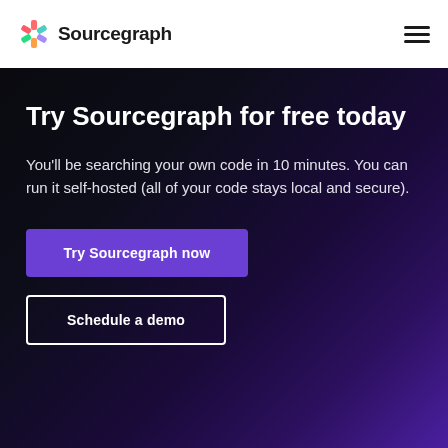Sourcegraph
Try Sourcegraph for free today
You'll be searching your own code in 10 minutes. You can run it self-hosted (all of your code stays local and secure).
Try Sourcegraph now
Schedule a demo